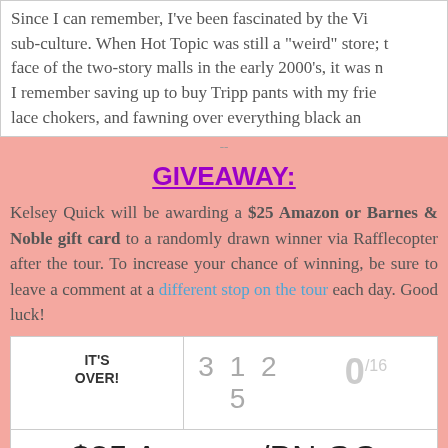Since I can remember, I've been fascinated by the Vi sub-culture. When Hot Topic was still a "weird" store; t face of the two-story malls in the early 2000's, it was n I remember saving up to buy Tripp pants with my frie lace chokers, and fawning over everything black an
GIVEAWAY:
Kelsey Quick will be awarding a $25 Amazon or Barnes & Noble gift card to a randomly drawn winner via Rafflecopter after the tour. To increase your chance of winning, be sure to leave a comment at a different stop on the tour each day. Good luck!
[Figure (other): Rafflecopter giveaway widget showing IT'S OVER! with entry count 3125 and 0/16, and prize label $25 Amazon/BN GC]